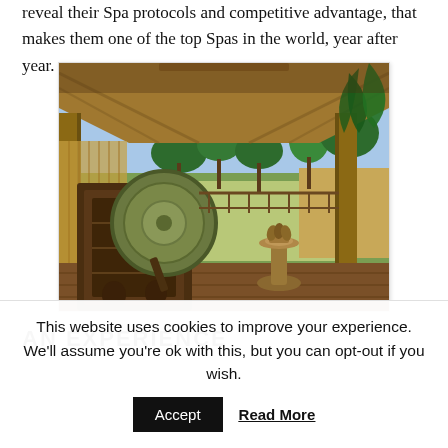reveal their Spa protocols and competitive advantage, that makes them one of the top Spas in the world, year after year.
[Figure (photo): An open-air Balinese spa pavilion with a thatched roof. In the foreground is a large ornate wooden cabinet with a circular green ceremonial gong. A decorative bronze incense holder sits to the right. In the background, tropical rice paddies, palm trees, and a blue sky are visible through the open bamboo structure.]
AN EXPERIENCE
This website uses cookies to improve your experience. We'll assume you're ok with this, but you can opt-out if you wish.
Accept
Read More